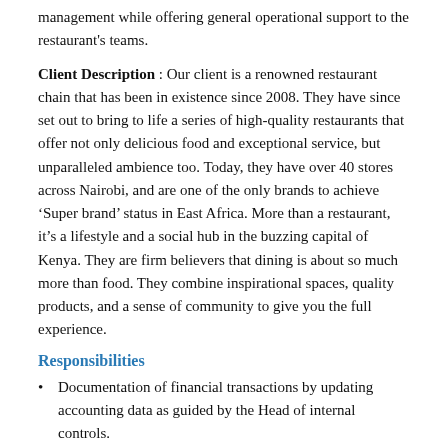management while offering general operational support to the restaurant's teams.
Client Description : Our client is a renowned restaurant chain that has been in existence since 2008. They have since set out to bring to life a series of high-quality restaurants that offer not only delicious food and exceptional service, but unparalleled ambience too. Today, they have over 40 stores across Nairobi, and are one of the only brands to achieve ‘Super brand’ status in East Africa. More than a restaurant, it’s a lifestyle and a social hub in the buzzing capital of Kenya. They are firm believers that dining is about so much more than food. They combine inspirational spaces, quality products, and a sense of community to give you the full experience.
Responsibilities
Documentation of financial transactions by updating accounting data as guided by the Head of internal controls.
Monitoring the food cost parameters in the inventory management system to ensure correctness and accuracy at all times.
Monitoring recipes management both in the inventory